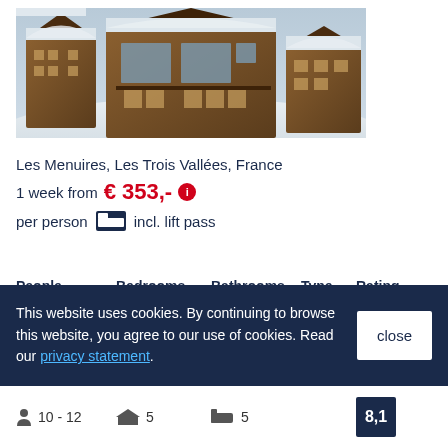[Figure (photo): Aerial/exterior photo of chalet-style buildings in a snowy Alpine ski resort setting, Les Menuires]
Les Menuires, Les Trois Vallées, France
1 week from € 353,- ℹ
per person 🛏 incl. lift pass
| People | Bedrooms | Bathrooms | Type | Rating |
| --- | --- | --- | --- | --- |
| 10 - 12 | 5 | 5 |  | 8,1 |
This website uses cookies. By continuing to browse this website, you agree to our use of cookies. Read our privacy statement.